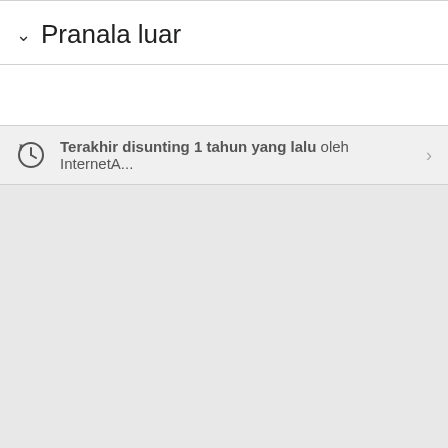Pranala luar
Terakhir disunting 1 tahun yang lalu oleh InternetA...